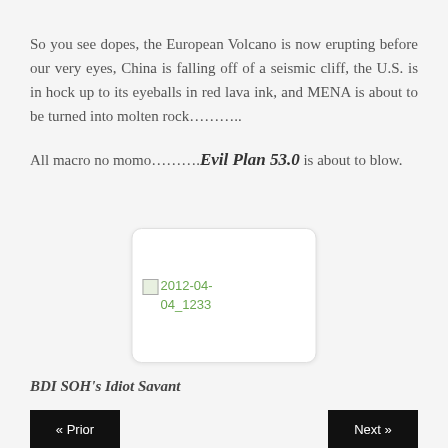So you see dopes, the European Volcano is now erupting before our very eyes, China is falling off of a seismic cliff, the U.S. is in hock up to its eyeballs in red lava ink, and MENA is about to be turned into molten rock……….
All macro no momo………. Evil Plan 53.0 is about to blow.
[Figure (other): Broken image placeholder labeled '2012-04-04_1233' shown inside a white rounded rectangle card]
BDI SOH's Idiot Savant
« Prior   Next »